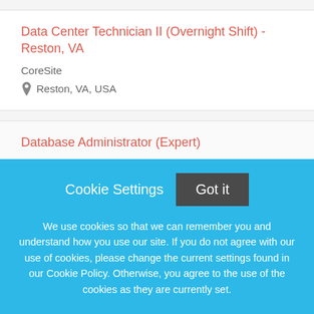Data Center Technician II (Overnight Shift) - Reston, VA
CoreSite
Reston, VA, USA
Database Administrator (Expert)
BAE Systems
McLean, VA, USA
Cookie Settings
Got it
We use cookies so that we can remember you and understand how you use our site. If you do not agree with our use of cookies, please change the current settings found in our Cookie Policy. Otherwise, you agree to the use of the cookies as they are currently set.